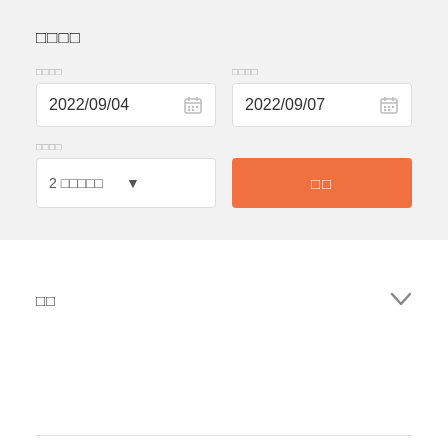□□□□
□□□□
2022/09/04
□□□□
2022/09/07
□□□□
2 □□□□□
□□
□□
□□